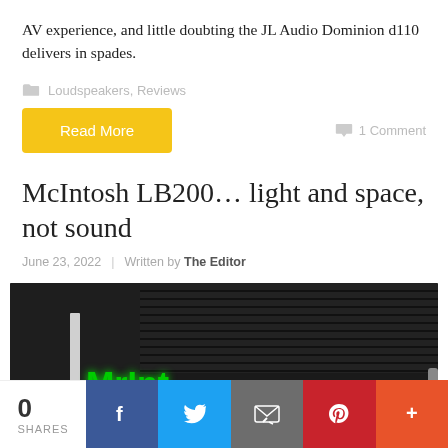AV experience, and little doubting the JL Audio Dominion d110 delivers in spades.
Loudspeakers, Reviews
Read More
1 Comment
McIntosh LB200… light and space, not sound
June 23, 2022 | Written by The Editor
[Figure (photo): McIntosh LB200 audio device with green illuminated logo on black chassis with ribbed top surface]
0 SHARES